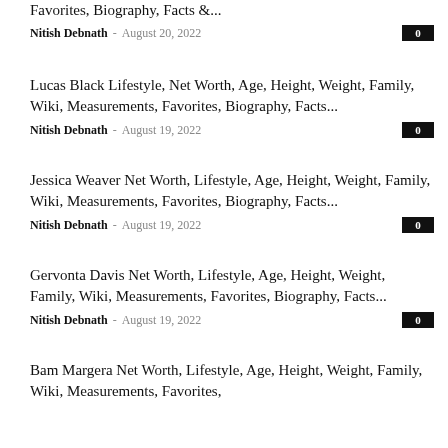Favorites, Biography, Facts &...
Nitish Debnath - August 20, 2022  0
Lucas Black Lifestyle, Net Worth, Age, Height, Weight, Family, Wiki, Measurements, Favorites, Biography, Facts...
Nitish Debnath - August 19, 2022  0
Jessica Weaver Net Worth, Lifestyle, Age, Height, Weight, Family, Wiki, Measurements, Favorites, Biography, Facts...
Nitish Debnath - August 19, 2022  0
Gervonta Davis Net Worth, Lifestyle, Age, Height, Weight, Family, Wiki, Measurements, Favorites, Biography, Facts...
Nitish Debnath - August 19, 2022  0
Bam Margera Net Worth, Lifestyle, Age, Height, Weight, Family, Wiki, Measurements, Favorites,